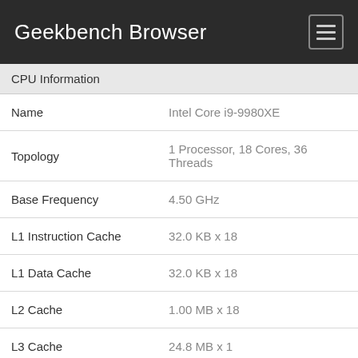Geekbench Browser
CPU Information
| Field | Value |
| --- | --- |
| Name | Intel Core i9-9980XE |
| Topology | 1 Processor, 18 Cores, 36 Threads |
| Base Frequency | 4.50 GHz |
| L1 Instruction Cache | 32.0 KB x 18 |
| L1 Data Cache | 32.0 KB x 18 |
| L2 Cache | 1.00 MB x 18 |
| L3 Cache | 24.8 MB x 1 |
Memory Information
| Field | Value |
| --- | --- |
| Memory | 125.48 GB |
Single Core Performance